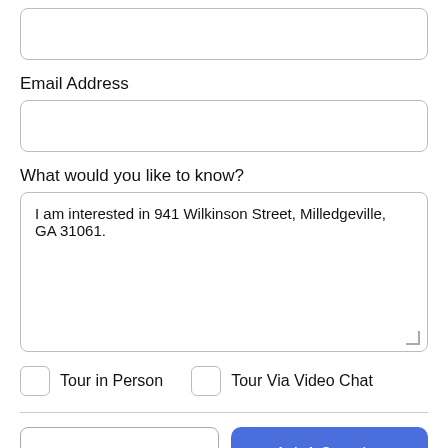[Figure (other): Empty text input field (top, partially cut off)]
Email Address
[Figure (other): Empty email address input field]
What would you like to know?
[Figure (other): Textarea with text: I am interested in 941 Wilkinson Street, Milledgeville, GA 31061.]
Tour in Person
Tour Via Video Chat
Take a Tour
Ask A Question